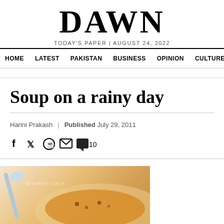DAWN — TODAY'S PAPER | AUGUST 24, 2022
HOME | LATEST | PAKISTAN | BUSINESS | OPINION | CULTURE
Soup on a rainy day
Harini Prakash | Published July 29, 2011
[Figure (photo): Social share icons: Facebook, Twitter, WhatsApp, Email, Comment (10)]
[Figure (photo): Photo of soup in a bowl with a spoon, partial view, with watermark text]